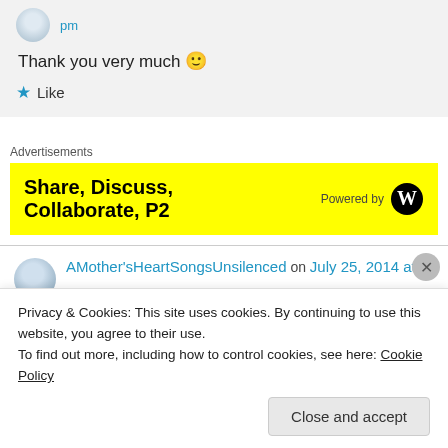pm
Thank you very much 🙂
★ Like
Advertisements
[Figure (screenshot): Yellow advertisement banner reading 'Share, Discuss, Collaborate, P2' with 'Powered by WordPress' logo on the right]
AMother'sHeartSongsUnsilenced on July 25, 2014 at
Privacy & Cookies: This site uses cookies. By continuing to use this website, you agree to their use.
To find out more, including how to control cookies, see here: Cookie Policy
Close and accept